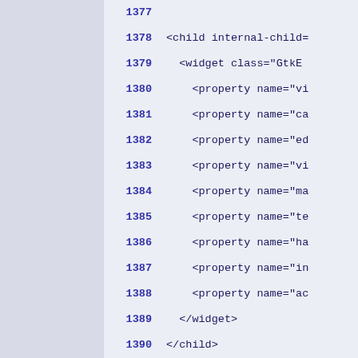[Figure (screenshot): Code editor view showing XML/Glade UI source lines 1377–1393, with line numbers in bold blue on the left and XML code in dark navy monospace font on a light lavender background. Left sidebar is a darker lavender/grey panel.]